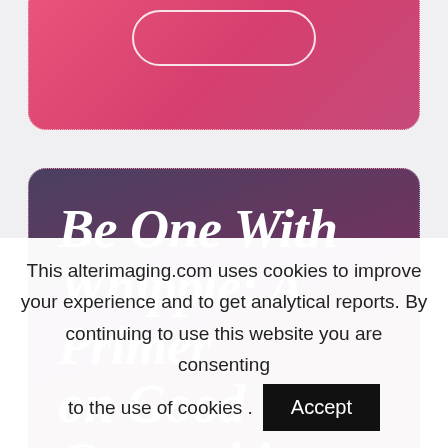[Figure (illustration): Top portion of a pink/rose gradient card with a white dotted border and a white rounded-rectangle button outline visible at the top]
Be One With Whipple: A Primer on Good Copywriting
This alterimaging.com uses cookies to improve your experience and to get analytical reports. By continuing to use this website you are consenting to the use of cookies.
Accept